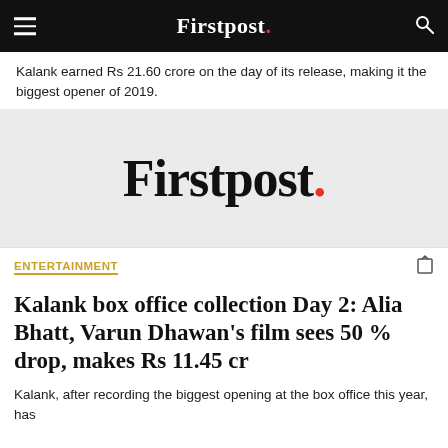Firstpost.
Kalank earned Rs 21.60 crore on the day of its release, making it the biggest opener of 2019.
[Figure (logo): Firstpost logo in large bold serif font on a light grey background with a red period/dot.]
ENTERTAINMENT
Kalank box office collection Day 2: Alia Bhatt, Varun Dhawan's film sees 50 % drop, makes Rs 11.45 cr
Kalank, after recording the biggest opening at the box office this year, has